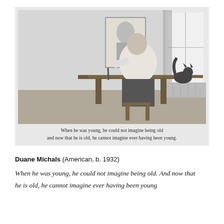[Figure (photo): Black and white photograph of a man seated at a table, painting or drawing a portrait on an easel. A cat stands on a windowsill in the background to the right. The photograph has handwritten text below it reading: 'When he was young, he could not imagine being old and now that he is old, he cannot imagine ever having been young.']
Duane Michals (American, b. 1932)
When he was young, he could not imagine being old. And now that he is old, he cannot imagine ever having been young